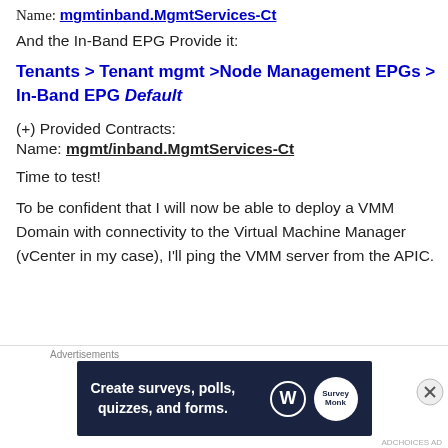Name: mgmtinband.MgmtServices-Ct
And the In-Band EPG Provide it:
Tenants > Tenant mgmt >Node Management EPGs > In-Band EPG Default
(+) Provided Contracts:
Name: mgmt/inband.MgmtServices-Ct
Time to test!
To be confident that I will now be able to deploy a VMM Domain with connectivity to the Virtual Machine Manager (vCenter in my case), I'll ping the VMM server from the APIC.
[Figure (infographic): Advertisement banner for survey/polling tool with text 'Create surveys, polls, quizzes, and forms.' on dark navy background with WordPress and SurveyMonkey icons]